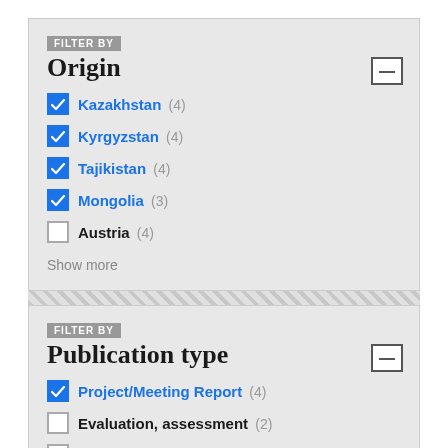FILTER BY
Origin
Kazakhstan (4) — checked
Kyrgyzstan (4) — checked
Tajikistan (4) — checked
Mongolia (3) — checked
Austria (4) — unchecked
Show more
FILTER BY
Publication type
Project/Meeting Report (4) — checked
Evaluation, assessment (2) — unchecked
Annual report (1) — unchecked